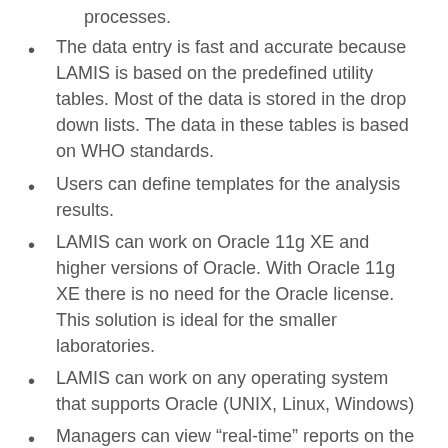processes.
The data entry is fast and accurate because LAMIS is based on the predefined utility tables. Most of the data is stored in the drop down lists. The data in these tables is based on WHO standards.
Users can define templates for the analysis results.
LAMIS can work on Oracle 11g XE and higher versions of Oracle. With Oracle 11g XE there is no need for the Oracle license. This solution is ideal for the smaller laboratories.
LAMIS can work on any operating system that supports Oracle (UNIX, Linux, Windows)
Managers can view “real-time” reports on the performances of the laboratories and individual